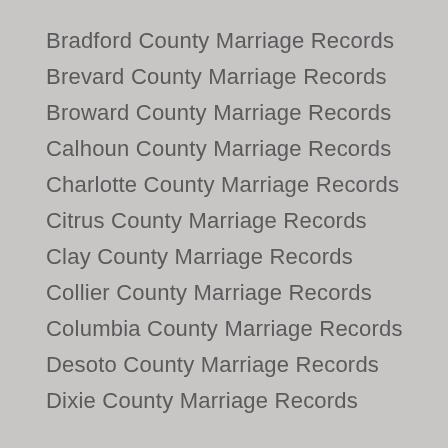Bradford County Marriage Records
Brevard County Marriage Records
Broward County Marriage Records
Calhoun County Marriage Records
Charlotte County Marriage Records
Citrus County Marriage Records
Clay County Marriage Records
Collier County Marriage Records
Columbia County Marriage Records
Desoto County Marriage Records
Dixie County Marriage Records